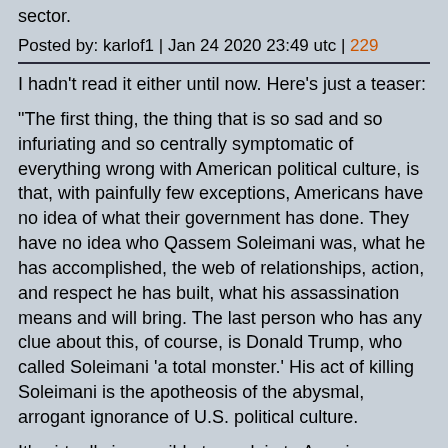sector.
Posted by: karlof1 | Jan 24 2020 23:49 utc | 229
I hadn't read it either until now. Here's just a teaser:

"The first thing, the thing that is so sad and so infuriating and so centrally symptomatic of everything wrong with American political culture, is that, with painfully few exceptions, Americans have no idea of what their government has done. They have no idea who Qassem Soleimani was, what he has accomplished, the web of relationships, action, and respect he has built, what his assassination means and will bring. The last person who has any clue about this, of course, is Donald Trump, who called Soleimani 'a total monster.' His act of killing Soleimani is the apotheosis of the abysmal, arrogant ignorance of U.S. political culture.

It's virtually impossible to explain to Americans because there is no one of comparable stature in the U.S. or in the West today. As Iran cleric Shahab Mohadi said, when talking about what a 'proportional response' might be: '[W]ho should we consider to take out in the context of America? Think about it. Are we supposed to take out Spider-Man and SpongeBob?... All of their heroes are cartoon characters — they're all fictional.' Trump? Lebanese Hezbollah's Hassan Nasrallah said what many throughout